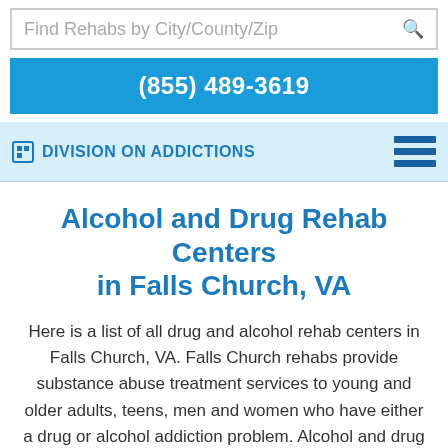Find Rehabs by City/County/Zip
(855) 489-3619
Division On Addictions
Alcohol and Drug Rehab Centers in Falls Church, VA
Here is a list of all drug and alcohol rehab centers in Falls Church, VA. Falls Church rehabs provide substance abuse treatment services to young and older adults, teens, men and women who have either a drug or alcohol addiction problem. Alcohol and drug rehabs in Falls Church may be free, low-cost or luxury.